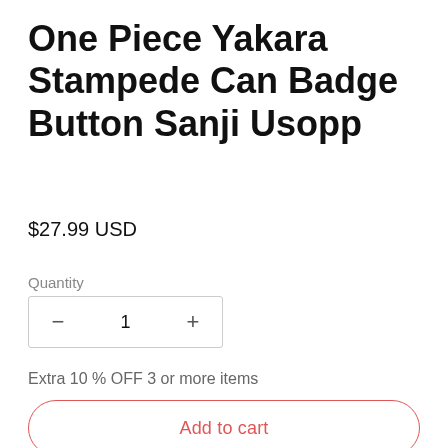One Piece Yakara Stampede Can Badge Button Sanji Usopp
$27.99 USD
Quantity
1
Extra 10 % OFF 3 or more items
Add to cart
Seller assumes all responsibility for this listing.